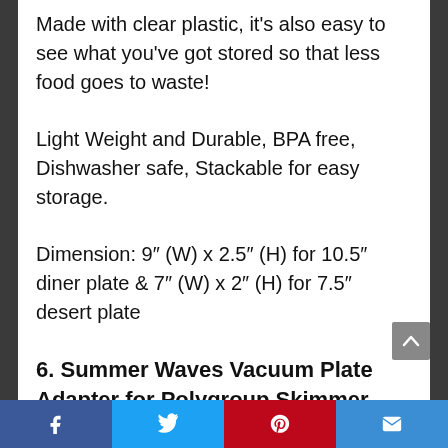Made with clear plastic, it's also easy to see what you've got stored so that less food goes to waste!
Light Weight and Durable, BPA free, Dishwasher safe, Stackable for easy storage.
Dimension: 9″ (W) x 2.5″ (H) for 10.5″ diner plate & 7″ (W) x 2″ (H) for 7.5″ desert plate
6. Summer Waves Vacuum Plate Adapter for Polygroup Skimmer Filter Pump Systems